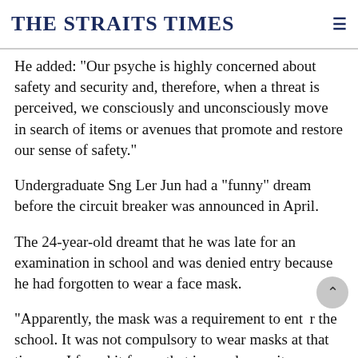THE STRAITS TIMES
He added: "Our psyche is highly concerned about safety and security and, therefore, when a threat is perceived, we consciously and unconsciously move in search of items or avenues that promote and restore our sense of safety."
Undergraduate Sng Ler Jun had a "funny" dream before the circuit breaker was announced in April.
The 24-year-old dreamt that he was late for an examination in school and was denied entry because he had forgotten to wear a face mask.
"Apparently, the mask was a requirement to enter the school. It was not compulsory to wear masks at that time, so I found it funny that in my dream, it